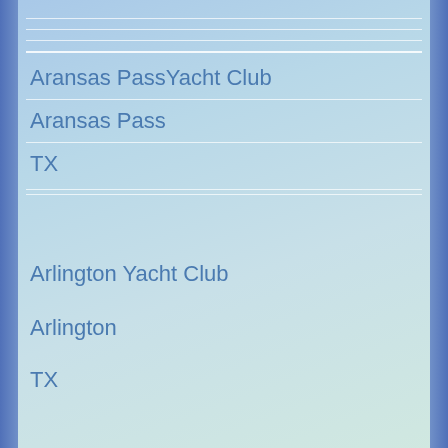Aransas PassYacht Club
Aransas Pass
TX
Arlington Yacht Club
Arlington
TX